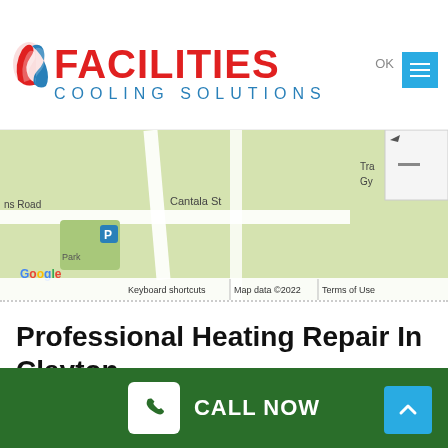[Figure (logo): Facilities Cooling Solutions logo with red swoosh icon, red bold FACILITIES text and blue COOLING SOLUTIONS text]
[Figure (map): Google Maps screenshot showing Cantala St and surrounding streets, with map controls overlay. Map footer shows: Keyboard shortcuts | Map data ©2022 | Terms of Use]
Professional Heating Repair In Clayton
[Figure (photo): Photo of a technician near a white van with trees in background]
[Figure (other): Green bottom bar with CALL NOW button and phone icon, and cyan scroll-to-top arrow button]